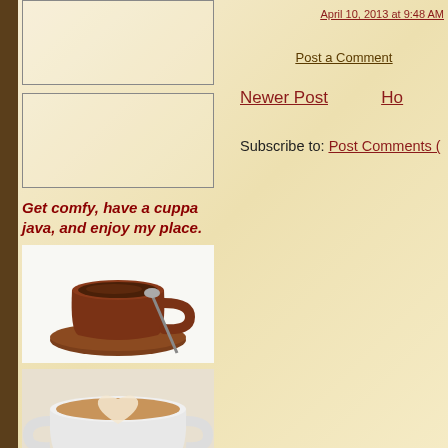April 10, 2013 at 9:48 AM
Post a Comment
Newer Post    Ho
Subscribe to: Post Comments (
Get comfy, have a cuppa java, and enjoy my place.
[Figure (photo): Brown ceramic coffee cup and saucer with spoon, coffee drink visible, white background]
[Figure (photo): White ceramic cup with latte art heart pattern on cappuccino foam, on saucer]